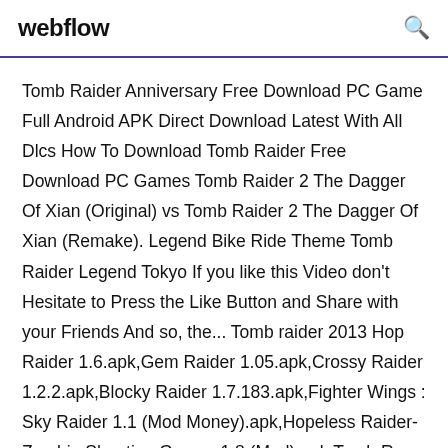webflow
Tomb Raider Anniversary Free Download PC Game Full Android APK Direct Download Latest With All Dlcs How To Download Tomb Raider Free Download PC Games Tomb Raider 2 The Dagger Of Xian (Original) vs Tomb Raider 2 The Dagger Of Xian (Remake). Legend Bike Ride Theme Tomb Raider Legend Tokyo If you like this Video don't Hesitate to Press the Like Button and Share with your Friends And so, the... Tomb raider 2013 Hop Raider 1.6.apk,Gem Raider 1.05.apk,Crossy Raider 1.2.2.apk,Blocky Raider 1.7.183.apk,Fighter Wings : Sky Raider 1.1 (Mod Money).apk,Hopeless Raider-Zombie Shooting Games 1.8 (Mod).apk,Tomb Run